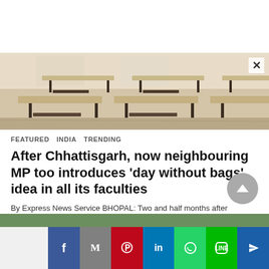[Figure (photo): Classroom with empty desks and chairs arranged in rows]
FEATURED  INDIA  TRENDING
After Chhattisgarh, now neighbouring MP too introduces 'day without bags' idea in all its faculties
By Express News Service BHOPAL: Two and half months after Congress ruled Chhattisgarh, the neighbouring BJP-ruled Madhya Pradesh too has… Read More
2 hours ago